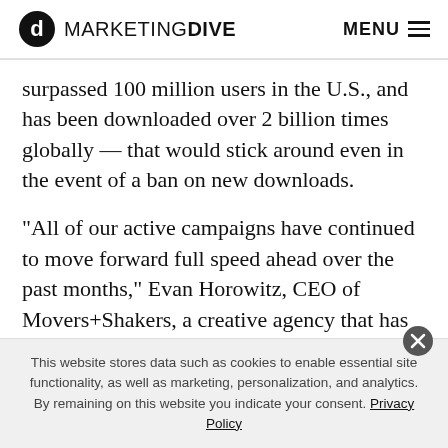MARKETING DIVE  MENU
surpassed 100 million users in the U.S., and has been downloaded over 2 billion times globally — that would stick around even in the event of a ban on new downloads.
“All of our active campaigns have continued to move forward full speed ahead over the past months,” Evan Horowitz, CEO of Movers+Shakers, a creative agency that has produced TikTok campaigns for brands like e.l.f.
This website stores data such as cookies to enable essential site functionality, as well as marketing, personalization, and analytics. By remaining on this website you indicate your consent. Privacy Policy